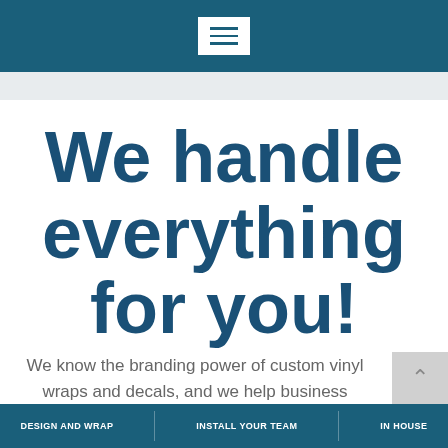[Navigation bar with hamburger menu]
We handle everything for you!
We know the branding power of custom vinyl wraps and decals, and we help business owners take advantag
DESIGN AND WRAP  |  INSTALL YOUR TEAM  |  IN HOUSE